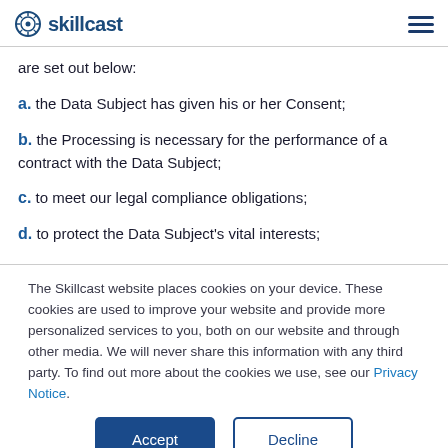skillcast
are set out below:
a. the Data Subject has given his or her Consent;
b. the Processing is necessary for the performance of a contract with the Data Subject;
c. to meet our legal compliance obligations;
d. to protect the Data Subject's vital interests;
The Skillcast website places cookies on your device. These cookies are used to improve your website and provide more personalized services to you, both on our website and through other media. We will never share this information with any third party. To find out more about the cookies we use, see our Privacy Notice.